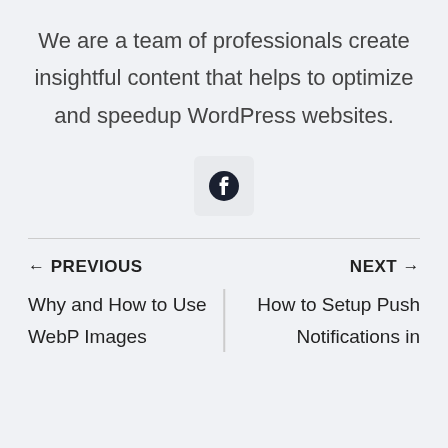We are a team of professionals create insightful content that helps to optimize and speedup WordPress websites.
[Figure (logo): Facebook logo icon in a rounded rectangle button]
← PREVIOUS
Why and How to Use WebP Images
NEXT →
How to Setup Push Notifications in